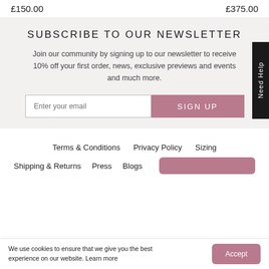£150.00
£375.00
SUBSCRIBE TO OUR NEWSLETTER
Join our community by signing up to our newsletter to receive 10% off your first order, news, exclusive previews and events and much more.
Need Help
Terms & Conditions
Privacy Policy
Sizing
Shipping & Returns
Press
Blogs
We use cookies to ensure that we give you the best experience on our website. Learn more